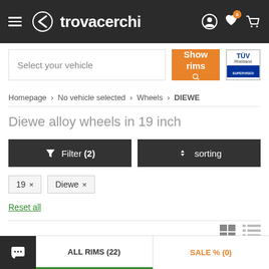trovacerchi
Select your vehicle   Show rims
Homepage › No vehicle selected › Wheels › DIEWE
Diewe alloy wheels in 19 inch
Filter (2)   sorting
19 ×
Diewe ×
Reset all
ALL RIMS (22)   SALE % (0)